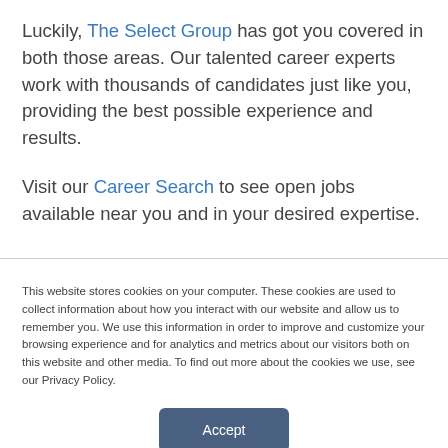Luckily, The Select Group has got you covered in both those areas. Our talented career experts work with thousands of candidates just like you, providing the best possible experience and results.
Visit our Career Search to see open jobs available near you and in your desired expertise.
This website stores cookies on your computer. These cookies are used to collect information about how you interact with our website and allow us to remember you. We use this information in order to improve and customize your browsing experience and for analytics and metrics about our visitors both on this website and other media. To find out more about the cookies we use, see our Privacy Policy.